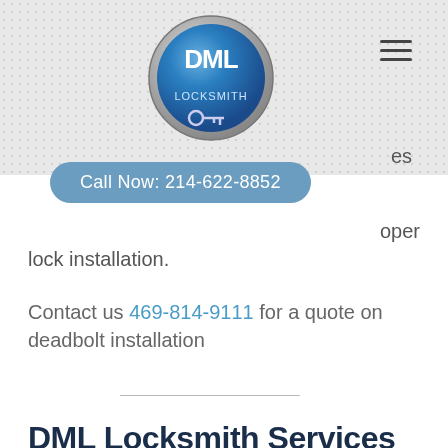[Figure (logo): DML Locksmith Services circular logo in blue and silver]
Call Now: 214-622-8852
oper lock installation.
Contact us 469-814-9111 for a quote on deadbolt installation
DML Locksmith Services
2109 W. Parker Rd Suite 206